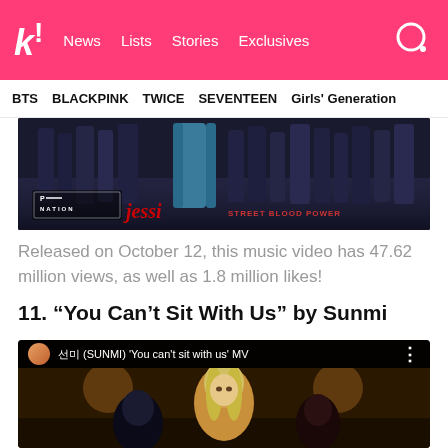k! News  Lists  Stories  Exclusives
BTS  BLACKPINK  TWICE  SEVENTEEN  Girls' Generation
[Figure (screenshot): Music video screenshot showing dancers' legs with P NATION logo and Jessi text overlay]
Released on October 12, this music video has 47.62 million views, as well as 1.8 million likes!
11. “You Can’t Sit With Us” by Sunmi
[Figure (screenshot): YouTube video thumbnail showing 선미 (SUNMI) 'You can't sit with us' MV with blurred faces in warm-toned scene]